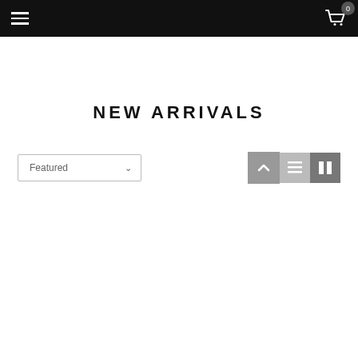Navigation bar with hamburger menu and cart icon showing 0 items
NEW ARRIVALS
[Figure (screenshot): Sort dropdown showing 'Featured' with chevron, and view toggle buttons (list view and grid view) with a back-to-top arrow button]